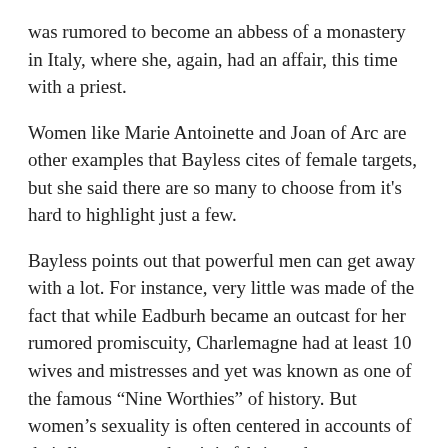was rumored to become an abbess of a monastery in Italy, where she, again, had an affair, this time with a priest.
Women like Marie Antoinette and Joan of Arc are other examples that Bayless cites of female targets, but she said there are so many to choose from it's hard to highlight just a few.
Bayless points out that powerful men can get away with a lot. For instance, very little was made of the fact that while Eadburh became an outcast for her rumored promiscuity, Charlemagne had at least 10 wives and mistresses and yet was known as one of the famous “Nine Worthies” of history. But women’s sexuality is often centered in accounts of their lives, even when it is fabricated.
“There are so many stories where women are just there to provide the salacious sex element,” Bayless said. She hopes her research helps people interrogate the way